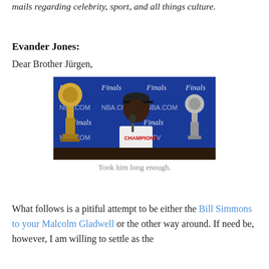mails regarding celebrity, sport, and all things culture.
Evander Jones:
Dear Brother Jürgen,
[Figure (photo): A basketball player wearing a CHAMPIONS hat and shirt sits at a press conference table with two trophies — the Larry O'Brien Championship Trophy on the left and the Finals MVP trophy on the right, in front of an NBA Finals backdrop.]
Took him long enough.
What follows is a pitiful attempt to be either the Bill Simmons to your Malcolm Gladwell or the other way around. If need be, however, I am willing to settle as the